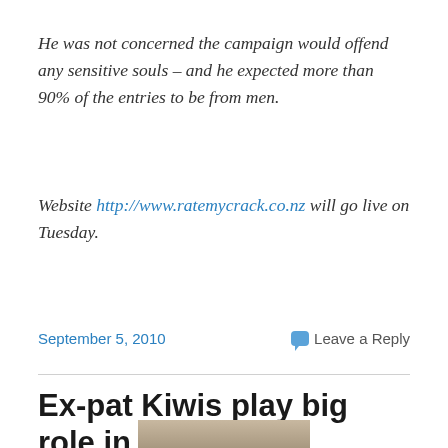He was not concerned the campaign would offend any sensitive souls – and he expected more than 90% of the entries to be from men.
Website http://www.ratemycrack.co.nz will go live on Tuesday.
September 5, 2010   Leave a Reply
Ex-pat Kiwis play big role in spreading Movember prostate cancer campaign around the world
[Figure (photo): Partial photo of a person visible at bottom of page]